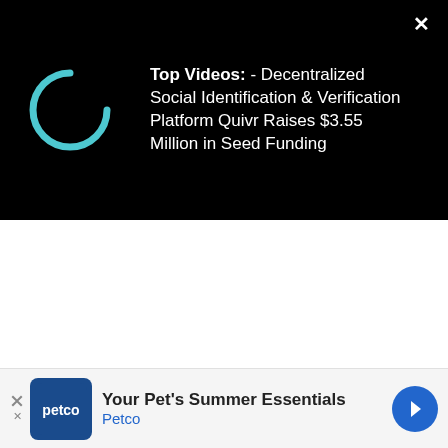[Figure (screenshot): Video player bar with loading spinner icon on dark background]
Top Videos: - Decentralized Social Identification & Verification Platform Quivr Raises $3.55 Million in Seed Funding
A criminal complaint filed in Lake County Circuit Cour
[Figure (screenshot): Petco advertisement banner: Your Pet's Summer Essentials - Petco]